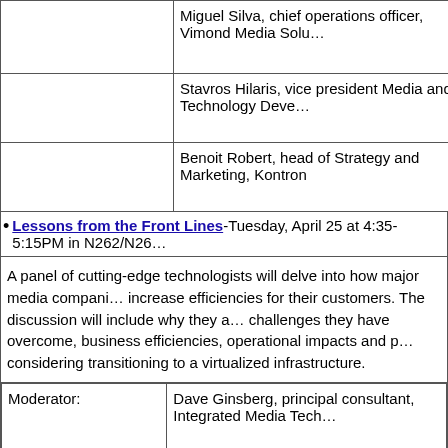|  | Miguel Silva, chief operations officer, Vimond Media Solu… |
|  | Stavros Hilaris, vice president Media and Technology Deve… |
|  | Benoit Robert, head of Strategy and Marketing, Kontron |
Lessons from the Front Lines-Tuesday, April 25 at 4:35-5:15PM in N262/N26…
A panel of cutting-edge technologists will delve into how major media compani… increase efficiencies for their customers. The discussion will include why they a… challenges they have overcome, business efficiencies, operational impacts and p… considering transitioning to a virtualized infrastructure.
| Moderator: | Dave Ginsberg, principal consultant, Integrated Media Tech… |
| Panelists: | Brian Lillie, chief customer officer & EVP of technology se… |
|  | Chris Fetner, director of global media engineering and partr… |
|  | Callum Hughes, senior solutions architect, Amazon Studios… |